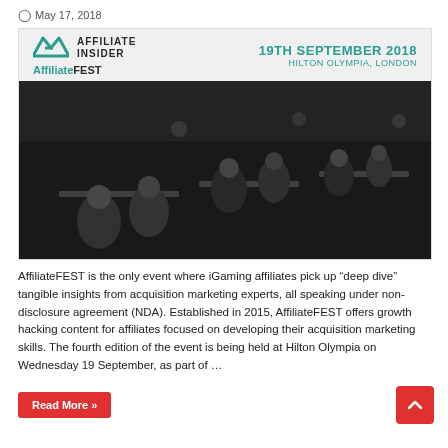May 17, 2018
[Figure (photo): AffiliateFEST event banner showing logo, date 19TH SEPTEMBER 2018 at HILTON OLYMPIA, LONDON, with a black and white photo of conference attendees seated at tables in discussion]
AffiliateFEST is the only event where iGaming affiliates pick up “deep dive” tangible insights from acquisition marketing experts, all speaking under non-disclosure agreement (NDA). Established in 2015, AffiliateFEST offers growth hacking content for affiliates focused on developing their acquisition marketing skills. The fourth edition of the event is being held at Hilton Olympia on Wednesday 19 September, as part of …
Read More »